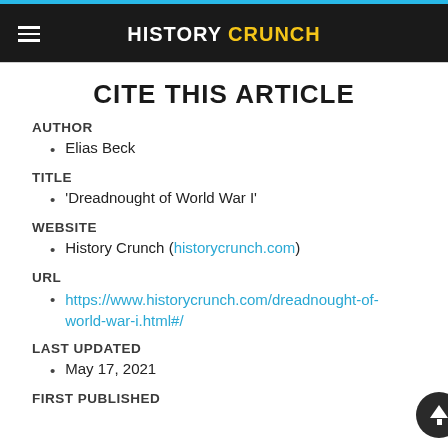HISTORY CRUNCH
CITE THIS ARTICLE
AUTHOR
Elias Beck
TITLE
'Dreadnought of World War I'
WEBSITE
History Crunch (historycrunch.com)
URL
https://www.historycrunch.com/dreadnought-of-world-war-i.html#/
LAST UPDATED
May 17, 2021
FIRST PUBLISHED